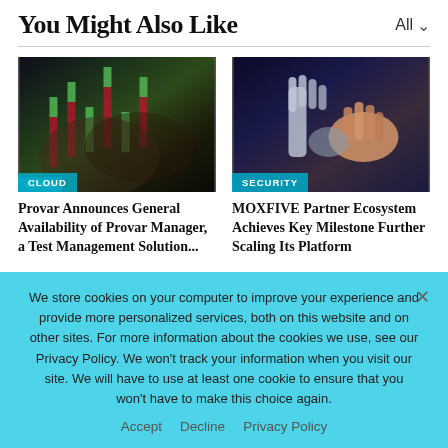You Might Also Like
All
[Figure (photo): Person in suit holding green candlestick chart markers with CLOUD badge overlay]
[Figure (photo): Robotic hand shaking human hand with SECURITY badge overlay]
Provar Announces General Availability of Provar Manager, a Test Management Solution...
MOXFIVE Partner Ecosystem Achieves Key Milestone Further Scaling Its Platform
We store cookies on your computer to improve your experience and provide more personalized services, both on this website and on other sites. For more information about the cookies we use, see our Privacy Policy. We won't track your information when you visit our site. We will have to use at least one cookie to ensure that you won't have to make this choice again.
Accept   Decline   Privacy Policy